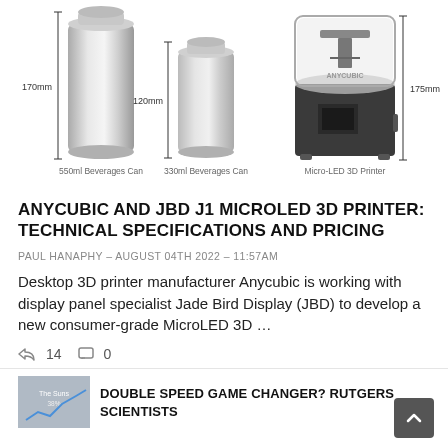[Figure (illustration): Size comparison of a 550ml beverages can (170mm tall), a 330ml beverages can (120mm tall), and an Anycubic Micro-LED 3D Printer (175mm tall), shown side by side with height annotations and labels beneath each object.]
ANYCUBIC AND JBD J1 MICROLED 3D PRINTER: TECHNICAL SPECIFICATIONS AND PRICING
PAUL HANAPHY – AUGUST 04TH 2022 – 11:57AM
Desktop 3D printer manufacturer Anycubic is working with display panel specialist Jade Bird Display (JBD) to develop a new consumer-grade MicroLED 3D ...
14   0
DOUBLE SPEED GAME CHANGER? RUTGERS SCIENTISTS